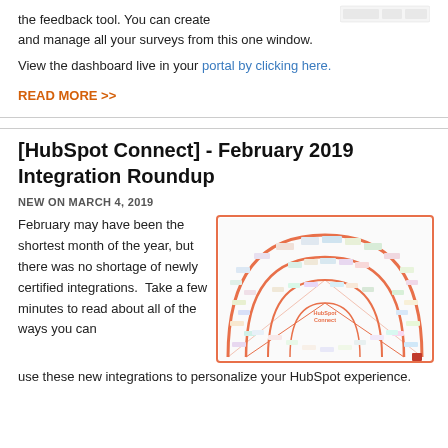the feedback tool. You can create and manage all your surveys from this one window.
View the dashboard live in your portal by clicking here.
READ MORE >>
[HubSpot Connect] - February 2019 Integration Roundup
NEW ON MARCH 4, 2019
February may have been the shortest month of the year, but there was no shortage of newly certified integrations.  Take a few minutes to read about all of the ways you can use these new integrations to personalize your HubSpot experience.
[Figure (infographic): HubSpot Connect integration ecosystem diagram showing logos of many partner integrations arranged in a semi-circular arc with the HubSpot Connect logo in the center, surrounded by rings of partner logos]